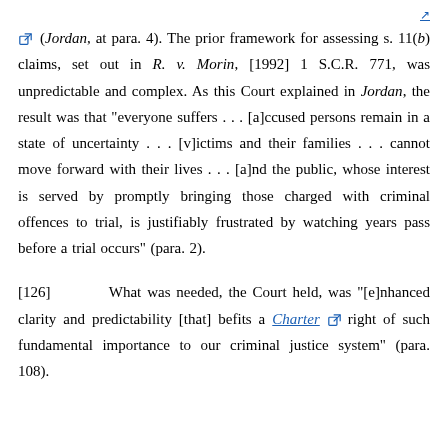(Jordan, at para. 4). The prior framework for assessing s. 11(b) claims, set out in R. v. Morin, [1992] 1 S.C.R. 771, was unpredictable and complex. As this Court explained in Jordan, the result was that "everyone suffers . . . [a]ccused persons remain in a state of uncertainty . . . [v]ictims and their families . . . cannot move forward with their lives . . . [a]nd the public, whose interest is served by promptly bringing those charged with criminal offences to trial, is justifiably frustrated by watching years pass before a trial occurs" (para. 2).
[126]   What was needed, the Court held, was "[e]nhanced clarity and predictability [that] befits a Charter right of such fundamental importance to our criminal justice system" (para. 108).